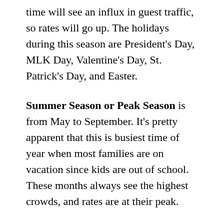time will see an influx in guest traffic, so rates will go up. The holidays during this season are President's Day, MLK Day, Valentine's Day, St. Patrick's Day, and Easter.
Summer Season or Peak Season is from May to September. It's pretty apparent that this is busiest time of year when most families are on vacation since kids are out of school. These months always see the highest crowds, and rates are at their peak.
Fall Season is from October to the third week of November (right before Thanksgiving). While it's not peak season, this season also sees particularly high guest counts.